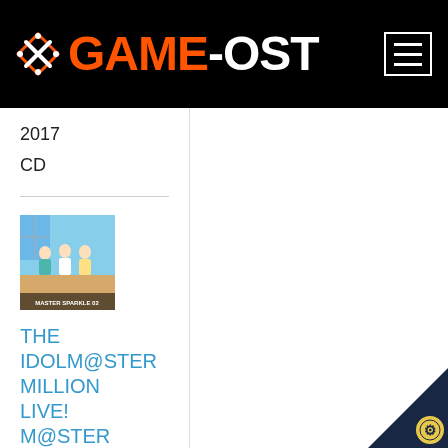[Figure (logo): GAME-OST website logo with diamond/X icon in white on black background, text GAME in orange and -OST in white, large bold font]
[Figure (other): Hamburger menu icon (three horizontal lines) inside a white-bordered rectangle, top right of header]
2017
CD
[Figure (illustration): Album cover thumbnail for THE IDOLM@STER MILLION LIVE! M@STER SPARKLE 02, showing anime characters with text 'MASTER SPARKLE 02' at bottom]
THE IDOLM@STER MILLION LIVE! M@STER SPARKLE 02 - EP, The • 2017